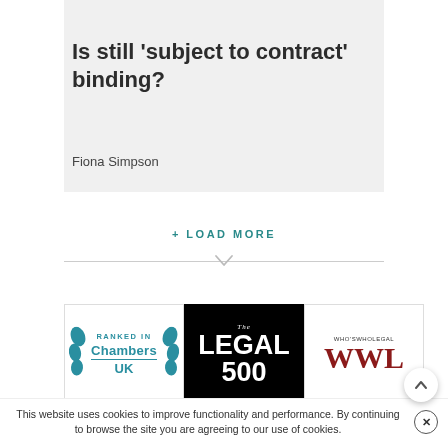BLOG
Is still 'subject to contract' binding?
Fiona Simpson
+ LOAD MORE
[Figure (logo): Chambers UK - RANKED IN badge with teal leaf decoration]
[Figure (logo): The Legal 500 logo on black background]
[Figure (logo): Who's Who Legal WWL logo]
This website uses cookies to improve functionality and performance. By continuing to browse the site you are agreeing to our use of cookies.